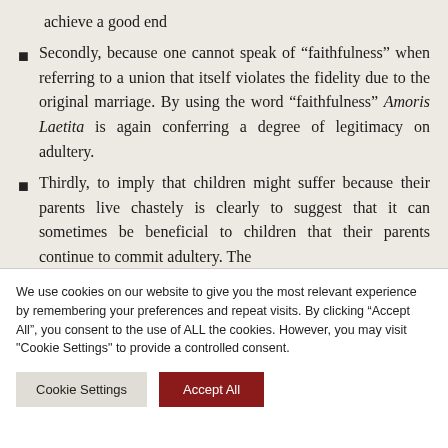achieve a good end
Secondly, because one cannot speak of “faithfulness” when referring to a union that itself violates the fidelity due to the original marriage. By using the word “faithfulness” Amoris Laetita is again conferring a degree of legitimacy on adultery.
Thirdly, to imply that children might suffer because their parents live chastely is clearly to suggest that it can sometimes be beneficial to children that their parents continue to commit adultery. The
We use cookies on our website to give you the most relevant experience by remembering your preferences and repeat visits. By clicking “Accept All”, you consent to the use of ALL the cookies. However, you may visit "Cookie Settings" to provide a controlled consent.